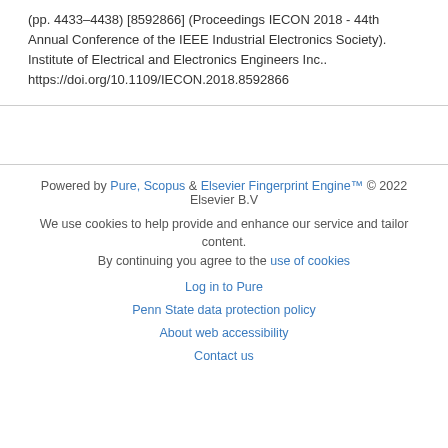(pp. 4433-4438) [8592866] (Proceedings IECON 2018 - 44th Annual Conference of the IEEE Industrial Electronics Society). Institute of Electrical and Electronics Engineers Inc.. https://doi.org/10.1109/IECON.2018.8592866
Powered by Pure, Scopus & Elsevier Fingerprint Engine™ © 2022 Elsevier B.V
We use cookies to help provide and enhance our service and tailor content. By continuing you agree to the use of cookies
Log in to Pure
Penn State data protection policy
About web accessibility
Contact us